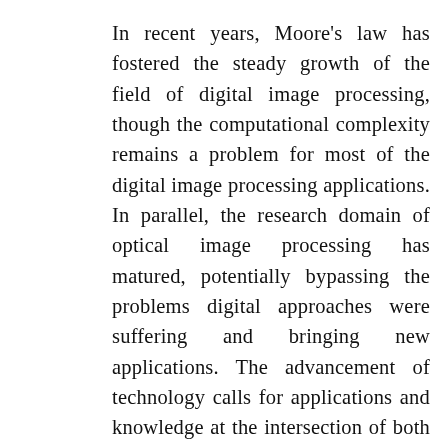In recent years, Moore's law has fostered the steady growth of the field of digital image processing, though the computational complexity remains a problem for most of the digital image processing applications. In parallel, the research domain of optical image processing has matured, potentially bypassing the problems digital approaches were suffering and bringing new applications. The advancement of technology calls for applications and knowledge at the intersection of both areas but there is a clear knowledge gap between the digital signal processing and the optical processing communities. This book covers the fundamental basis of the optical and image processing techniques by integrating contributions from both optical and digital research communities to solve current